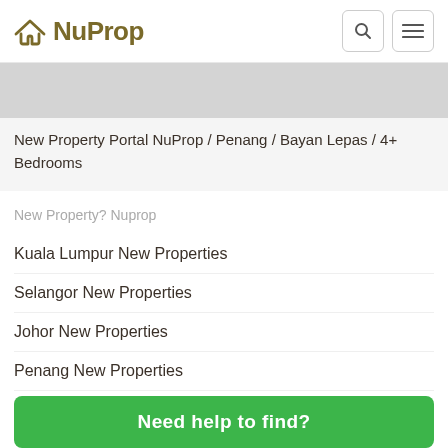NuProp
[Figure (photo): Gray image placeholder bar]
New Property Portal NuProp / Penang / Bayan Lepas / 4+ Bedrooms
New Property? Nuprop
Kuala Lumpur New Properties
Selangor New Properties
Johor New Properties
Penang New Properties
Kedah New Properties
Need help to find?